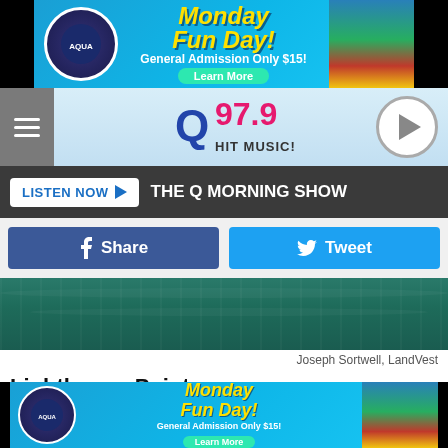[Figure (photo): Aquaboggan Water Park advertisement banner: Monday Fun Day! General Admission Only $15! Learn More button. Shows water slide image with colorful lanes.]
[Figure (logo): Q97.9 Hit Music! radio station logo in header with hamburger menu and play button]
LISTEN NOW ▶  THE Q MORNING SHOW
[Figure (screenshot): Facebook Share and Twitter Tweet social sharing buttons]
[Figure (photo): Aerial view of dark teal/green water body]
Joseph Sortwell, LandVest
Lighthouse Point
The 5,800 square foot home features 3+ bedrooms, 5 baths, garage, lighthouse tower, wall of windows, perfect detail, and immaculate views.
[Figure (photo): Aquaboggan Water Park advertisement banner at bottom: Monday Fun Day! General Admission Only $15! Learn More button.]